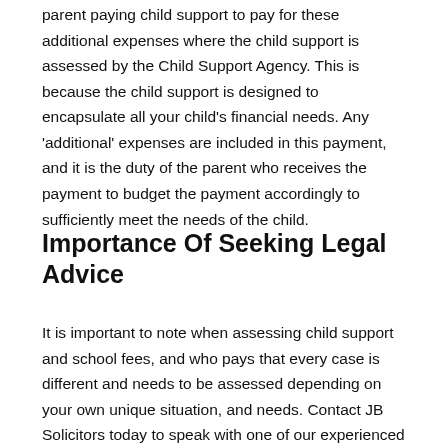parent paying child support to pay for these additional expenses where the child support is assessed by the Child Support Agency. This is because the child support is designed to encapsulate all your child's financial needs. Any 'additional' expenses are included in this payment, and it is the duty of the parent who receives the payment to budget the payment accordingly to sufficiently meet the needs of the child.
Importance Of Seeking Legal Advice
It is important to note when assessing child support and school fees, and who pays that every case is different and needs to be assessed depending on your own unique situation, and needs. Contact JB Solicitors today to speak with one of our experienced family lawyers.